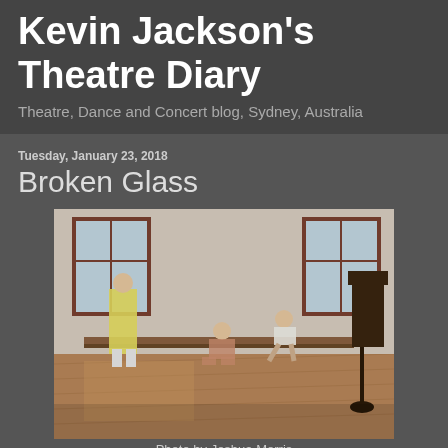Kevin Jackson's Theatre Diary
Theatre, Dance and Concert blog, Sydney, Australia
Tuesday, January 23, 2018
Broken Glass
[Figure (photo): Three performers in a hall with wooden floors and large windows. One figure in a yellow coat stands at left, one sits on a bench in the center, and one bends near the right. A dark wooden lectern or stand is at far right.]
Photo by Joshua Morris